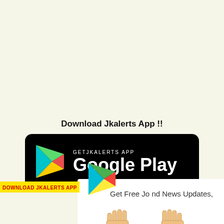Download Jkalerts App !!
[Figure (logo): Google Play Store button with colorful play icon triangle, text 'GETJKALERTS APP' above 'Google Play' on black rounded rectangle background]
[Figure (logo): Small colorful Google Play triangle icon at bottom of page, overlapping a white card that says 'Get Free Job and News Updates,' with cartoon hand illustrations below]
DOWNLOAD JKALERTS APP
Get Free Job and News Updates,